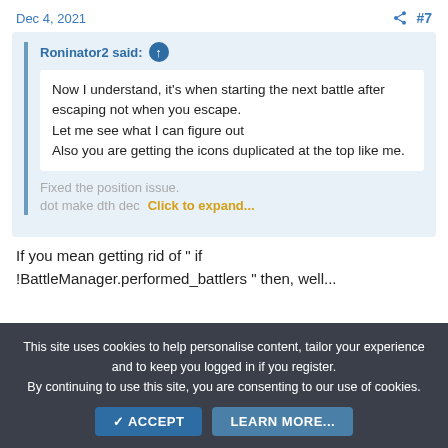Dec 4, 2021  #7
Roninator2 said: ↑
Now I understand, it's when starting the next battle after escaping not when you escape.
Let me see what I can figure out
Also you are getting the icons duplicated at the top like me.
Fixed the position issue.
dot make dth dec...
Click to expand...
If you mean getting rid of " if !BattleManager.performed_battlers " then, well...
This site uses cookies to help personalise content, tailor your experience and to keep you logged in if you register.
By continuing to use this site, you are consenting to our use of cookies.
ACCEPT  LEARN MORE...